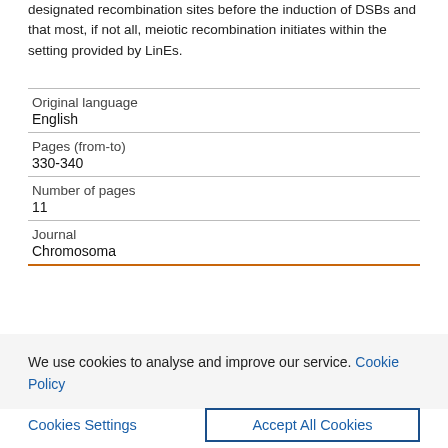designated recombination sites before the induction of DSBs and that most, if not all, meiotic recombination initiates within the setting provided by LinEs.
| Original language | English |
| Pages (from-to) | 330-340 |
| Number of pages | 11 |
| Journal | Chromosoma |
We use cookies to analyse and improve our service. Cookie Policy
Cookies Settings   Accept All Cookies